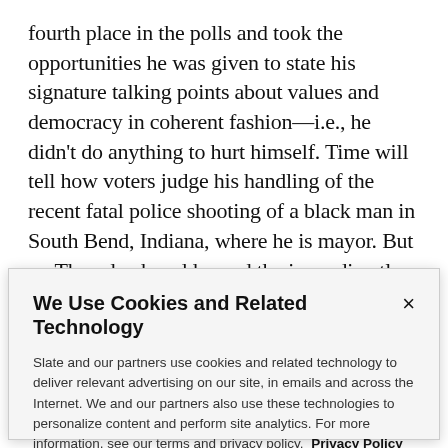fourth place in the polls and took the opportunities he was given to state his signature talking points about values and democracy in coherent fashion—i.e., he didn't do anything to hurt himself. Time will tell how voters judge his handling of the recent fatal police shooting of a black man in South Bend, Indiana, where he is mayor. But on Thursday he addressed the issue directly and took blame for having failed to diversify the city's police force.
We Use Cookies and Related Technology
Slate and our partners use cookies and related technology to deliver relevant advertising on our site, in emails and across the Internet. We and our partners also use these technologies to personalize content and perform site analytics. For more information, see our terms and privacy policy. Privacy Policy